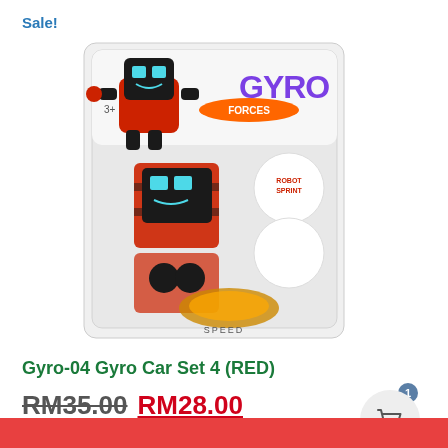Sale!
[Figure (photo): Gyro Forces robot toy product in packaging - a red robot character called SPEED, shown on blister card with Gyro Forces branding. The robot has a black face with blue square eyes and red/black body. Multiple views shown on card.]
Gyro-04 Gyro Car Set 4 (RED)
RM35.00 RM28.00